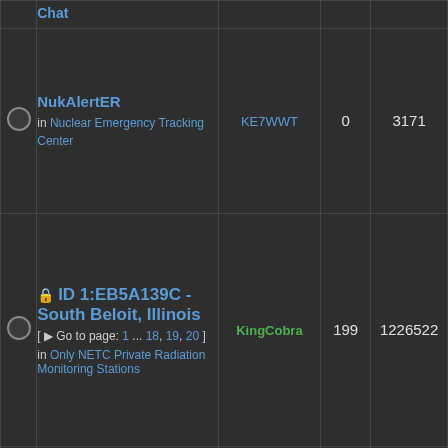|  | Topic | Author | Replies | Views |
| --- | --- | --- | --- | --- |
|  | Chat |  |  |  |
| ○ | NukAlertER in Nuclear Emergency Tracking Center | KE7WWT | 0 | 3171 |
| ○ | ID 1:EB5A139C - South Beloit, Illinois [ Go to page: 1 ... 18, 19, 20 ] in Only NETC Private Radiation Monitoring Stations | KingCobra | 199 | 1226522 |
|  | Fukushima Nuclear Power Plant ... |  |  |  |